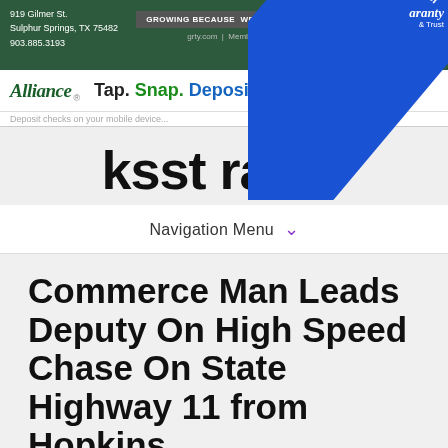919 Gilmer St. Sulphur Springs, TX 75482 903.885.3193
[Figure (logo): Guaranty Bank & Trust advertisement banner - dark green background with text GROWING BECAUSE WE HELP YOU GROW and grty.com | Member FDIC]
[Figure (logo): Alliance Bank advertisement with logo and tagline: Tap. Snap. Deposit.]
[Figure (logo): KSST Radio logo in bold black text]
[Figure (other): KSST's YouTube Channel diagonal blue ribbon banner overlay]
Navigation Menu
Commerce Man Leads Deputy On High Speed Chase On State Highway 11 from Hopkins